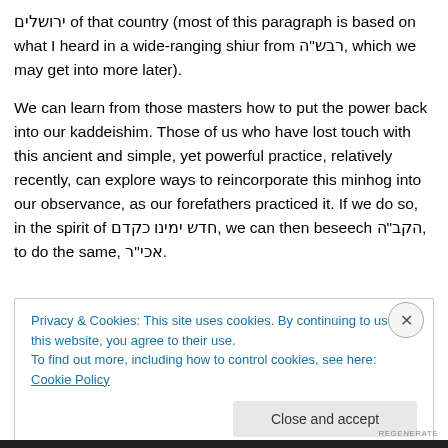ירושלים of that country (most of this paragraph is based on what I heard in a wide-ranging shiur from רבש"ה, which we may get into more later).
We can learn from those masters how to put the power back into our kaddeishim. Those of us who have lost touch with this ancient and simple, yet powerful practice, relatively recently, can explore ways to reincorporate this minhog into our observance, as our forefathers practiced it. If we do so, in the spirit of חדש ימינו כקדם, we can then beseech הקב"ה, to do the same, אכי"ר.
Privacy & Cookies: This site uses cookies. By continuing to use this website, you agree to their use.
To find out more, including how to control cookies, see here: Cookie Policy
Close and accept